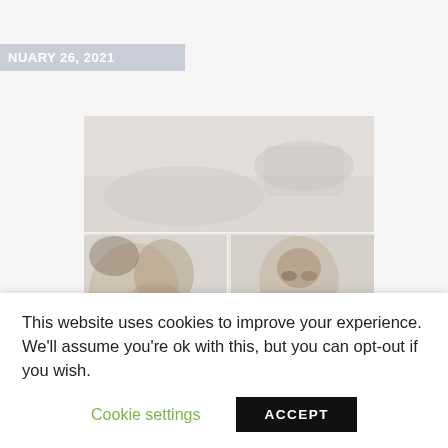NUARY 26, 2021
[Figure (photo): Three-panel collage of dog photos: a large top image showing a dog's body/neck area in muted tones, bottom-left showing a close-up of a dog's face (brown and white), bottom-right showing a dog's face with a blue collar/bandage.]
Case of the month: Congenital
This website uses cookies to improve your experience. We'll assume you're ok with this, but you can opt-out if you wish.
Cookie settings   ACCEPT